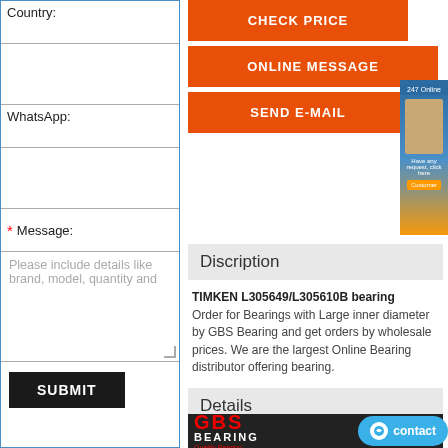Country:
WhatsApp:
* Message:
Please include details like brand, model, quantity and
SUBMIT
CHECK PRICE
ONLINE MESSAGE
SEND E-MAIL
Discription
TIMKEN L305649/L305610B bearing Order for Bearings with Large inner diameter by GBS Bearing and get orders by wholesale prices. We are the largest Online Bearing distributor offering bearing.
Details
[Figure (logo): GBS Bearing logo — red GBS text over black background with white BEARING text and Quality Bearing subtitle]
contact